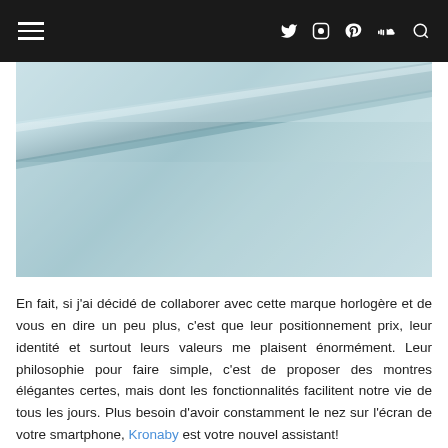Navigation header with hamburger menu and social icons
[Figure (photo): Close-up photo of a light blue/silver metallic surface with a diagonal reflective stripe or edge, likely a watch or similar product detail.]
En fait, si j'ai décidé de collaborer avec cette marque horlogère et de vous en dire un peu plus, c'est que leur positionnement prix, leur identité et surtout leurs valeurs me plaisent énormément. Leur philosophie pour faire simple, c'est de proposer des montres élégantes certes, mais dont les fonctionnalités facilitent notre vie de tous les jours. Plus besoin d'avoir constamment le nez sur l'écran de votre smartphone, Kronaby est votre nouvel assistant!